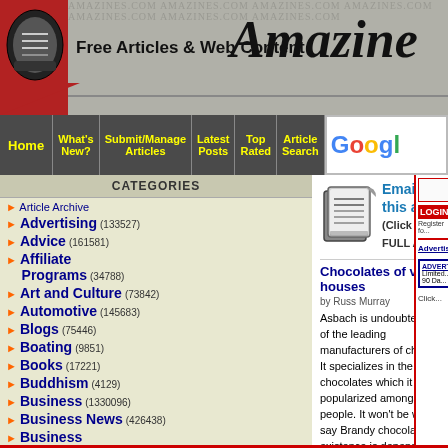Free Articles & Web Content — Amazines
Home | What's New? | Submit/Manage Articles | Latest Posts | Top Rated | Article Search | Google
CATEGORIES
Article Archive
Advertising (133527)
Advice (161581)
Affiliate Programs (34788)
Art and Culture (73842)
Automotive (145683)
Blogs (75446)
Boating (9851)
Books (17221)
Buddhism (4129)
Business (1330096)
Business News (426438)
Business Opportunities (366486)
[Figure (illustration): Rolled newspaper icon illustration]
Email me this article (Click for FULL Article)
Chocolates of varied houses
by Russ Murray
Asbach is undoubtedly one of the leading manufacturers of chocolate. It specializes in the Brandy chocolates which it has so popularized amongst people. It won't be wrong to say Brandy chocolates existence is dependant somewhat on Asbach Comp...
(Click for FULL Article)
LOGIN
Register fo...
Advertis...
ADVERT... Limited... 90 Da...
Click...